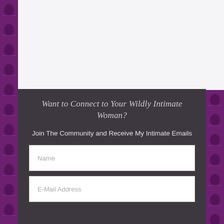Want to Connect to Your Wildly Intimate Woman?
Join The Community and Receive My Intimate Emails
Name
E-Mail Address